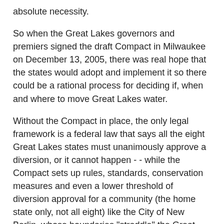absolute necessity.
So when the Great Lakes governors and premiers signed the draft Compact in Milwaukee on December 13, 2005, there was real hope that the states would adopt and implement it so there could be a rational process for deciding if, when and where to move Great Lakes water.
Without the Compact in place, the only legal framework is a federal law that says all the eight Great Lakes states must unanimously approve a diversion, or it cannot happen - - while the Compact sets up rules, standards, conservation measures and even a lower threshold of diversion approval for a community (the home state only, not all eight) like the City of New Berlin, whose boundaries "straddle" the Great Lakes basin boundary.
In the two years since the Governors' signing, several demoralizing things have happened to stall the Compact's approval an diminish its prospects.
1. Only Illinois and Minnesota have approved it.